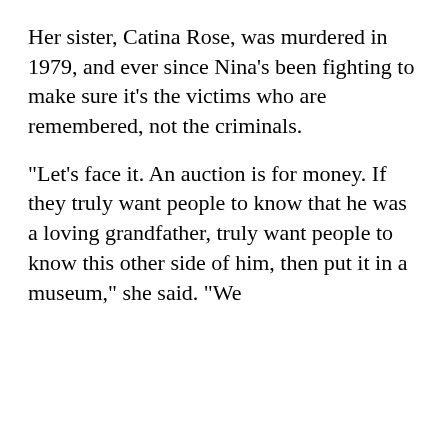Her sister, Catina Rose, was murdered in 1979, and ever since Nina's been fighting to make sure it's the victims who are remembered, not the criminals.
"Let's face it. An auction is for money. If they truly want people to know that he was a loving grandfather, truly want people to know this other side of him, then put it in a museum," she said. "We
[Figure (screenshot): iOS app selection modal sheet with title 'View CBS News In', offering CBS News App with OPEN button and Safari with CONTINUE button. CBS News app icon is black with CBS eye logo. Safari icon is a compass on blue gradient background.]